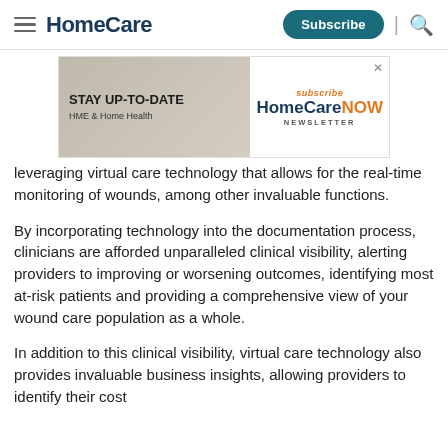HomeCare
[Figure (infographic): Advertisement banner for HomeCare NOW newsletter with text 'subscribe', 'STAY UP-TO-DATE HME & Home Health', 'HomeCare NOW NEWSLETTER']
leveraging virtual care technology that allows for the real-time monitoring of wounds, among other invaluable functions.
By incorporating technology into the documentation process, clinicians are afforded unparalleled clinical visibility, alerting providers to improving or worsening outcomes, identifying most at-risk patients and providing a comprehensive view of your wound care population as a whole.
In addition to this clinical visibility, virtual care technology also provides invaluable business insights, allowing providers to identify their cost